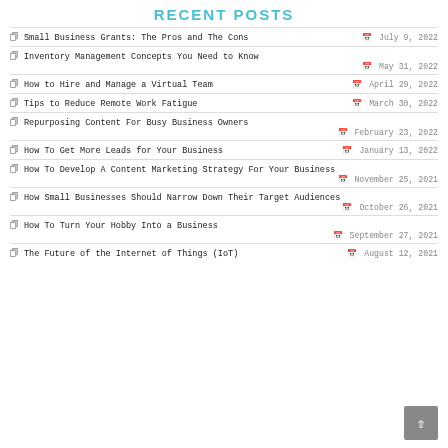RECENT POSTS
Small Business Grants: The Pros and The Cons — July 9, 2022
Inventory Management Concepts You Need to Know — May 31, 2022
How to Hire and Manage a Virtual Team — April 29, 2022
Tips to Reduce Remote Work Fatigue — March 30, 2022
Repurposing Content For Busy Business Owners — February 23, 2022
How To Get More Leads for Your Business — January 13, 2022
How To Develop A Content Marketing Strategy For Your Business — November 25, 2021
How Small Businesses Should Narrow Down Their Target Audiences — October 26, 2021
How To Turn Your Hobby Into a Business — September 27, 2021
The Future of the Internet of Things (IoT) — August 12, 2021